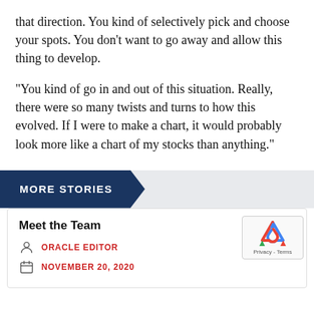that direction. You kind of selectively pick and choose your spots. You don't want to go away and allow this thing to develop.
“You kind of go in and out of this situation. Really, there were so many twists and turns to how this evolved. If I were to make a chart, it would probably look more like a chart of my stocks than anything.”
MORE STORIES
Meet the Team
ORACLE EDITOR
NOVEMBER 20, 2020